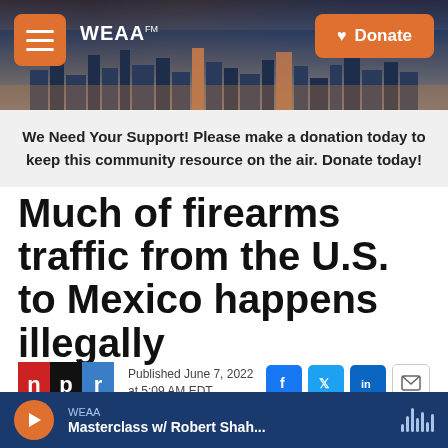[Figure (screenshot): WEAA radio station website header banner with city skyline background, hamburger menu button on left, WEAA logo, and Donate button on right]
We Need Your Support! Please make a donation today to keep this community resource on the air. Donate today!
Much of firearms traffic from the U.S. to Mexico happens illegally
Published June 7, 2022 at 5:09 AM EDT
[Figure (logo): NPR logo with n in red, p in black, r in blue squares]
[Figure (screenshot): Social share icons: Facebook (f), Twitter (bird), LinkedIn (in), and email envelope]
WEAA Masterclass w/ Robert Shah...